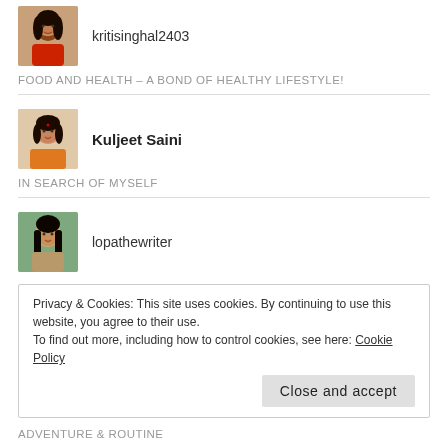[Figure (photo): Avatar photo of kritisinghal2403 - woman in red dress]
kritisinghal2403
FOOD AND HEALTH – A BOND OF HEALTHY LIFESTYLE!
[Figure (photo): Avatar photo of Kuljeet Saini - woman in orange saree]
Kuljeet Saini
IN SEARCH OF MYSELF
[Figure (photo): Avatar photo of lopathewriter - woman with long dark hair]
lopathewriter
Privacy & Cookies: This site uses cookies. By continuing to use this website, you agree to their use.
To find out more, including how to control cookies, see here: Cookie Policy
Close and accept
ADVENTURE & ROUTINE